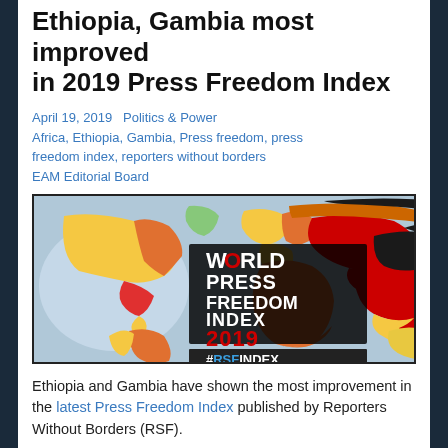Ethiopia, Gambia most improved in 2019 Press Freedom Index
April 19, 2019   Politics & Power
Africa, Ethiopia, Gambia, Press freedom, press freedom index, reporters without borders
EAM Editorial Board
[Figure (illustration): World Press Freedom Index 2019 map showing countries colored by press freedom level (red, orange, yellow, green, grey) with the text 'WORLD PRESS FREEDOM INDEX 2019 #RSFINDEX' overlaid]
Ethiopia and Gambia have shown the most improvement in the latest Press Freedom Index published by Reporters Without Borders (RSF).
While press freedom around the world is generally declining, Ethiopia and Gambia are fighting the trend